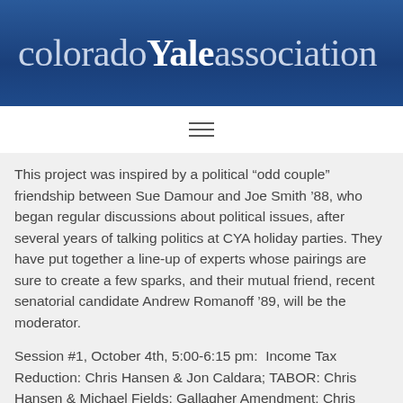coloradoYaleassociation
This project was inspired by a political “odd couple” friendship between Sue Damour and Joe Smith ’88, who began regular discussions about political issues, after several years of talking politics at CYA holiday parties. They have put together a line-up of experts whose pairings are sure to create a few sparks, and their mutual friend, recent senatorial candidate Andrew Romanoff ’89, will be the moderator.
Session #1, October 4th, 5:00-6:15 pm:  Income Tax Reduction: Chris Hansen & Jon Caldara; TABOR: Chris Hansen & Michael Fields; Gallagher Amendment: Chris Hansen & Linda Gorman
Session #2, October 11th, 5:00-6:15 pm:  Reintroduction of